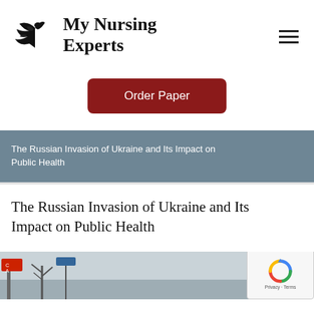[Figure (logo): My Nursing Experts logo with a dove/bird illustration and bold serif text reading 'My Nursing Experts']
My Nursing Experts
Order Paper
The Russian Invasion of Ukraine and Its Impact on Public Health
The Russian Invasion of Ukraine and Its Impact on Public Health
[Figure (photo): Outdoor street scene photo, partially visible, showing signs and bare trees in winter. Partially obscured by reCAPTCHA badge.]